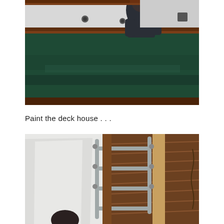[Figure (photo): A person in a dark grey jacket working on or leaning over the side of a wooden boat with dark green painted hull and brown wooden trim. The image is taken from a low angle showing the hull prominently.]
Paint the deck house . . .
[Figure (photo): An overhead view of a boat deck showing white fiberglass surfaces, wooden teak deck paneling, metal grey ladder/rail structure, and a person's head visible at the bottom of the frame. The boat's interior deck area and woodwork are visible.]